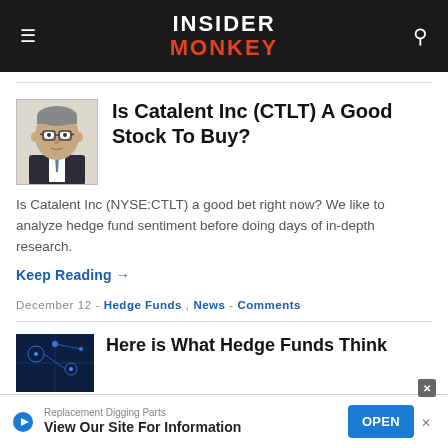INSIDER MONKEY
Is Catalent Inc (CTLT) A Good Stock To Buy?
Is Catalent Inc (NYSE:CTLT) a good bet right now? We like to analyze hedge fund sentiment before doing days of in-depth research.
Keep Reading →
December 12 - Hedge Funds, News - Comments
[Figure (photo): Caricature illustration of a person with glasses in a suit]
[Figure (photo): Dark blue tech/finance background image (partial, bottom article)]
Replacement Digging Parts
View Our Site For Information
OPEN